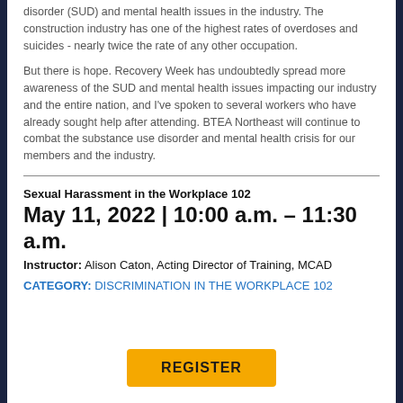disorder (SUD) and mental health issues in the industry. The construction industry has one of the highest rates of overdoses and suicides - nearly twice the rate of any other occupation.
But there is hope. Recovery Week has undoubtedly spread more awareness of the SUD and mental health issues impacting our industry and the entire nation, and I've spoken to several workers who have already sought help after attending. BTEA Northeast will continue to combat the substance use disorder and mental health crisis for our members and the industry.
Sexual Harassment in the Workplace 102
May 11, 2022 | 10:00 a.m. – 11:30 a.m.
Instructor: Alison Caton, Acting Director of Training, MCAD
CATEGORY: DISCRIMINATION IN THE WORKPLACE 102
REGISTER